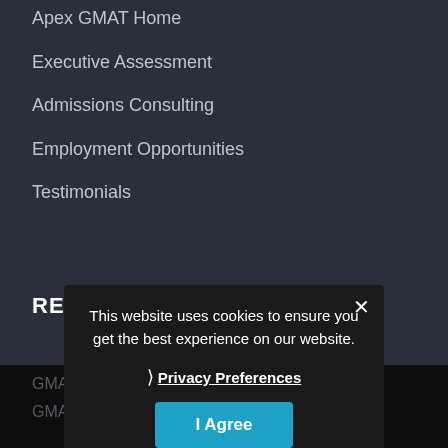Apex GMAT Home
Executive Assessment
Admissions Consulting
Employment Opportunities
Testimonials
RESOURCES
GMAT Tutoring
GMAT Curriculum
This website uses cookies to ensure you get the best experience on our website.
❯ Privacy Preferences
I Agree